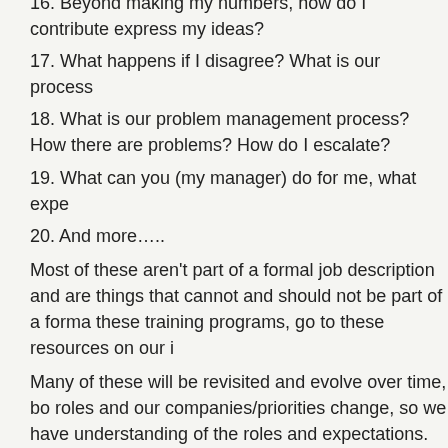16. Beyond making my numbers, how do I contribute express my ideas?
17. What happens if I disagree? What is our process
18. What is our problem management process? How there are problems? How do I escalate?
19. What can you (my manager) do for me, what expe
20. And more…..
Most of these aren't part of a formal job description and are things that cannot and should not be part of a forma these training programs, go to these resources on our i
Many of these will be revisited and evolve over time, bo roles and our companies/priorities change, so we have understanding of the roles and expectations.
But many of you are probably thinking, "Yeah, Yeah, Da important to our jobs and role clarity?"
I think there are several areas:
First, as our businesses, markets, customers, and lives